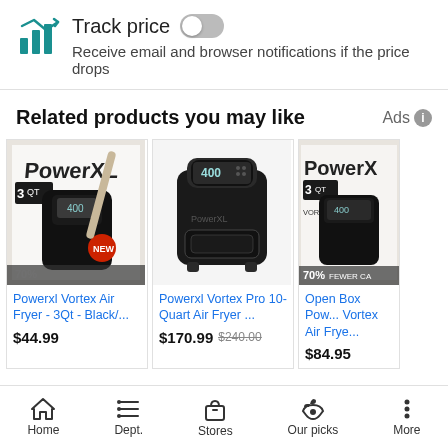Track price — Receive email and browser notifications if the price drops
Related products you may like
[Figure (photo): Powerxl Vortex Air Fryer 3Qt Black product photo showing box packaging with '70% fewer calories' text]
Powerxl Vortex Air Fryer - 3Qt - Black/... $44.99
[Figure (photo): Powerxl Vortex Pro 10-Quart Air Fryer product photo showing the black air fryer unit]
Powerxl Vortex Pro 10-Quart Air Fryer ... $170.99 $240.00
[Figure (photo): Open Box PowerXL Vortex Air Fryer 3Qt box packaging photo]
Open Box Pow... Vortex Air Frye... $84.95
Home  Dept.  Stores  Our picks  More